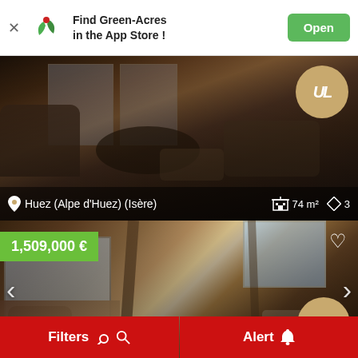Find Green-Acres in the App Store !  Open
[Figure (photo): Interior photo of a luxury alpine chalet/apartment showing dark wood furniture, armchairs, and a round coffee table. Location overlay: Huez (Alpe d'Huez) (Isère), 74 m², 3 rooms. Agency logo UL badge displayed.]
[Figure (photo): Interior photo of a luxury alpine property showing exposed wooden beam ceiling, large windows with mountain views, open living space. Price badge: 1,509,000 €. Heart/favorite icon. UL agency badge. Navigation arrows left and right.]
Filters
Alert